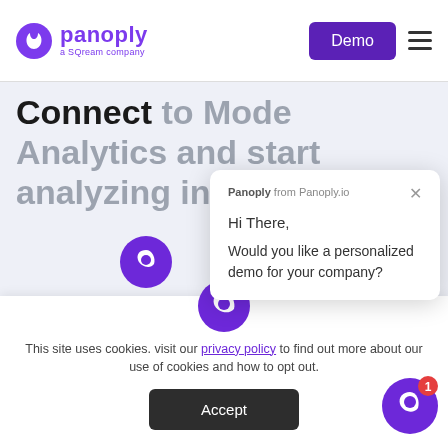Panoply — a SQream company | Demo | Navigation menu
Connect to Mode Analytics and start analyzing in minutes.
[Figure (screenshot): Chat popup from Panoply.io saying: Panoply from Panoply.io — Hi There, Would you like a personalized demo for your company?]
This site uses cookies. visit our privacy policy to find out more about our use of cookies and how to opt out.
Accept